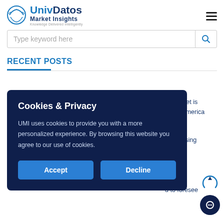UnivDatos Market Insights – Knowledge Delivered Intelligently
Type keyword here
RECENT POSTS
re Market is North America
ate is rising ing the
Cookies & Privacy
UMI uses cookies to provide you with a more personalized experience. By browsing this website you agree to our use of cookies.
Accept
Decline
d to foresee